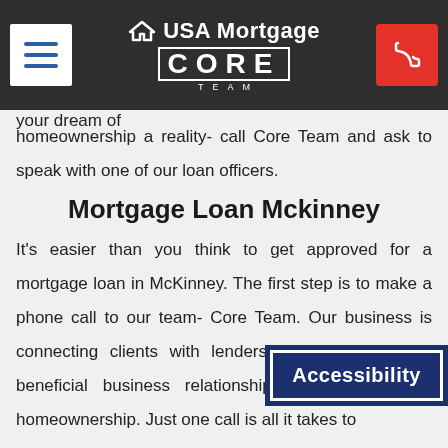USA Mortgage / CORE TEAM navigation bar with hamburger menu and phone button
bank's rejection. We work with lenders who are in the habit of saying yes to our clients. Let us be a part of making your dream of homeownership a reality- call Core Team and ask to speak with one of our loan officers.
Mortgage Loan Mckinney
It's easier than you think to get approved for a mortgage loan in McKinney. The first step is to make a phone call to our team- Core Team. Our business is connecting clients with lenders to create mutually-beneficial business relationships that help fu... homeownership. Just one call is all it takes to